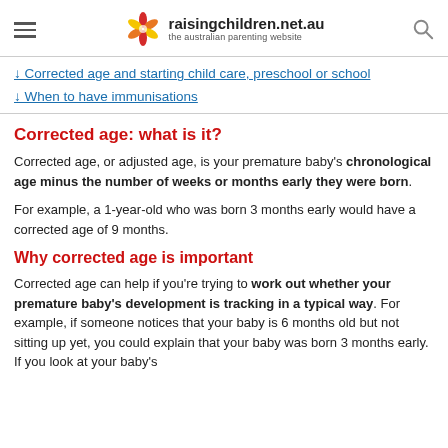raisingchildren.net.au – the australian parenting website
↓ Corrected age and starting child care, preschool or school
↓ When to have immunisations
Corrected age: what is it?
Corrected age, or adjusted age, is your premature baby's chronological age minus the number of weeks or months early they were born.
For example, a 1-year-old who was born 3 months early would have a corrected age of 9 months.
Why corrected age is important
Corrected age can help if you're trying to work out whether your premature baby's development is tracking in a typical way. For example, if someone notices that your baby is 6 months old but not sitting up yet, you could explain that your baby was born 3 months early. If you look at your baby's